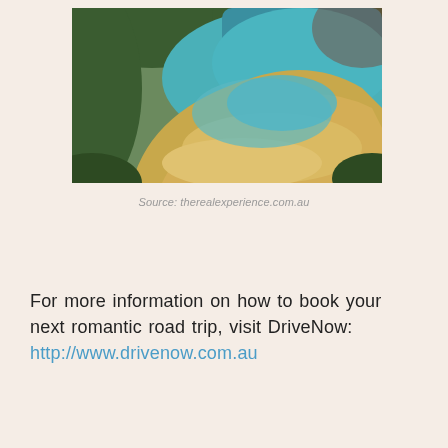[Figure (photo): Aerial view of a horseshoe-shaped sandy beach and turquoise bay surrounded by dense green hills and forest, with clear shallow water revealing sandy bottom patterns.]
Source: therealexperience.com.au
For more information on how to book your next romantic road trip, visit DriveNow: http://www.drivenow.com.au